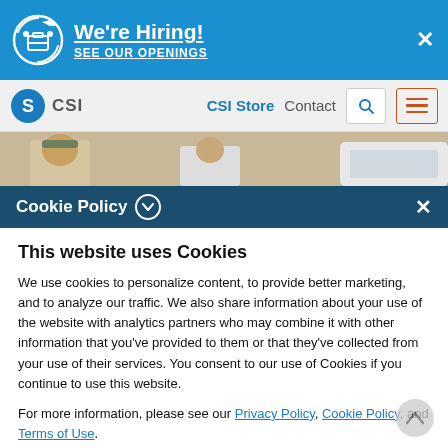We're Hiring! SEE OUR OPENINGS
CSI | CSI Store  Contact
[Figure (photo): Photo strip showing people including a person in military cap]
Cookie Policy
This website uses Cookies
We use cookies to personalize content, to provide better marketing, and to analyze our traffic. We also share information about your use of the website with analytics partners who may combine it with other information that you've provided to them or that they've collected from your use of their services. You consent to our use of Cookies if you continue to use this website.
For more information, please see our Privacy Policy, Cookie Policy, and Terms of Use.
Accept all cookies